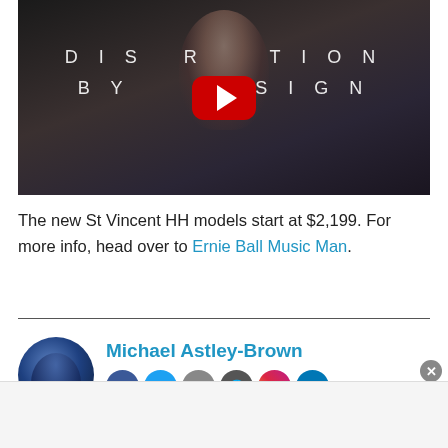[Figure (screenshot): YouTube video thumbnail showing a woman's face with text 'DISRUPTION BY DESIGN' and a red YouTube play button overlay]
The new St Vincent HH models start at $2,199. For more info, head over to Ernie Ball Music Man.
[Figure (photo): Author avatar photo of Michael Astley-Brown in blue tones]
Michael Astley-Brown
[Figure (infographic): Social media icons: Facebook, Twitter, Email, Web, Instagram, LinkedIn]